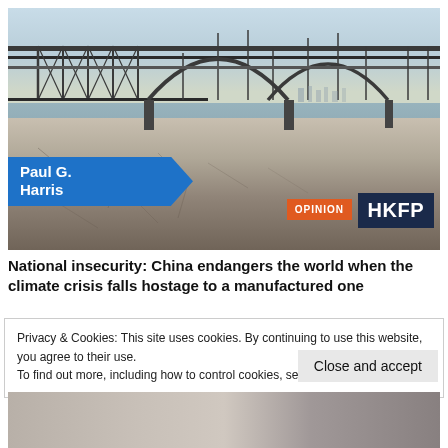[Figure (photo): Photo of a bridge over a dried riverbed with cracked earth and exposed rocky banks, with water visible in the far background. Labels overlaid: author name 'Paul G. Harris' in blue banner, 'OPINION' badge in orange, 'HKFP' logo in dark navy.]
National insecurity: China endangers the world when the climate crisis falls hostage to a manufactured one
Privacy & Cookies: This site uses cookies. By continuing to use this website, you agree to their use.
To find out more, including how to control cookies, see here: Cookie Policy
Close and accept
[Figure (photo): Bottom strip showing partial image, appears to be people or figures, cut off at page bottom.]